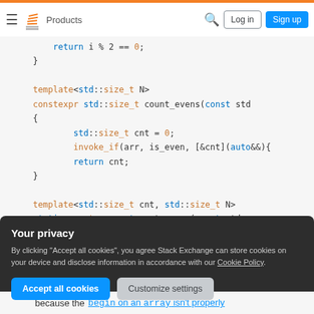≡ [Stack Overflow logo] Products 🔍 Log in Sign up
[Figure (screenshot): Code snippet showing C++ template functions: return i % 2 == 0; }, template<std::size_t N> constexpr std::size_t count_evens(const std { std::size_t cnt = 0; invoke_if(arr, is_even, [&cnt](auto&&){ return cnt; } template<std::size_t cnt, std::size_t N> static constexpr auto get_evens(const std:: std::array<int, cnt> result{};]
Your privacy
By clicking "Accept all cookies", you agree Stack Exchange can store cookies on your device and disclose information in accordance with our Cookie Policy.
because the begin on an array isn't properly